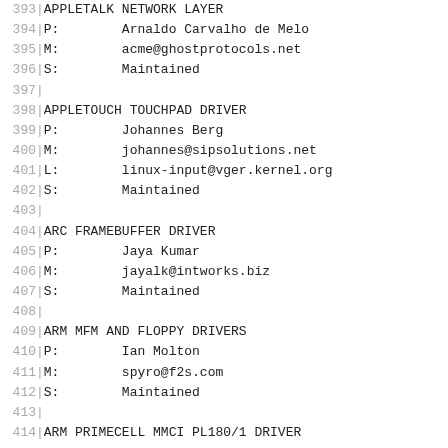393	APPLETALK NETWORK LAYER
394	P:	Arnaldo Carvalho de Melo
395	M:	acme@ghostprotocols.net
396	S:	Maintained
397
398	APPLETOUCH TOUCHPAD DRIVER
399	P:	Johannes Berg
400	M:	johannes@sipsolutions.net
401	L:	linux-input@vger.kernel.org
402	S:	Maintained
403
404	ARC FRAMEBUFFER DRIVER
405	P:	Jaya Kumar
406	M:	jayalk@intworks.biz
407	S:	Maintained
408
409	ARM MFM AND FLOPPY DRIVERS
410	P:	Ian Molton
411	M:	spyro@f2s.com
412	S:	Maintained
413
414	ARM PRIMECELL MMCI PL180/1 DRIVER